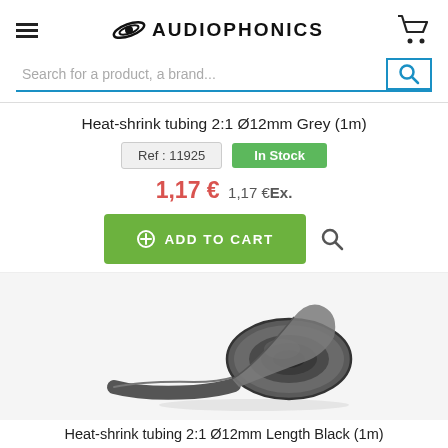Audiophonics
Heat-shrink tubing 2:1 Ø12mm Grey (1m)
Ref : 11925   In Stock
1,17 € 1,17 €Ex.
ADD TO CART
[Figure (photo): Grey heat-shrink tubing rolled up, showing a roll with a flat tail extending to the left]
Heat-shrink tubing 2:1 Ø12mm Length Black (1m)